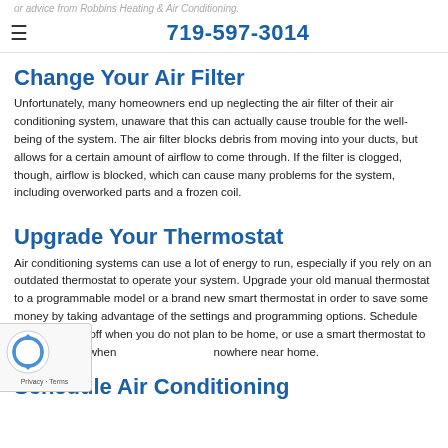or advice from Robbins Heating & Air Conditioning.
719-597-3014
Change Your Air Filter
Unfortunately, many homeowners end up neglecting the air filter of their air conditioning system, unaware that this can actually cause trouble for the well-being of the system. The air filter blocks debris from moving into your ducts, but allows for a certain amount of airflow to come through. If the filter is clogged, though, airflow is blocked, which can cause many problems for the system, including overworked parts and a frozen coil.
Upgrade Your Thermostat
Air conditioning systems can use a lot of energy to run, especially if you rely on an outdated thermostat to operate your system. Upgrade your old manual thermostat to a programmable model or a brand new smart thermostat in order to save some money by taking advantage of the settings and programming options. Schedule the AC to shut off when you do not plan to be home, or use a smart thermostat to control it even when nowhere near home.
Schedule Air Conditioning